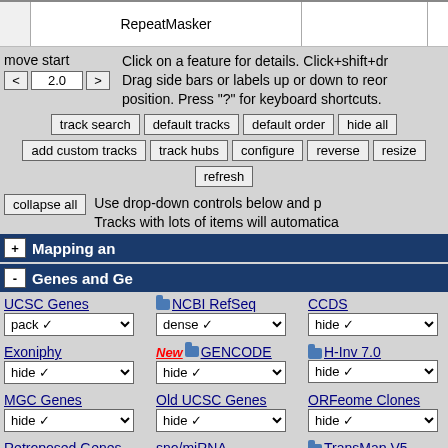RepeatMasker
move start
< 2.0 >
Click on a feature for details. Click+shift+dr Drag side bars or labels up or down to reor position. Press "?" for keyboard shortcuts.
track search | default tracks | default order | hide all
add custom tracks | track hubs | configure | reverse | resize
refresh
collapse all
Use drop-down controls below and p Tracks with lots of items will automatica
+ Mapping an
- Genes and Ge
UCSC Genes [pack]
NCBI RefSeq [dense]
CCDS [hide]
Exoniphy [hide]
New GENCODE [hide]
H-Inv 7.0 [hide]
MGC Genes [hide]
Old UCSC Genes [hide]
ORFeome Clones [hide]
Retroposed Genes [hide]
sno/miRNA [hide]
TransMap V5 [hide]